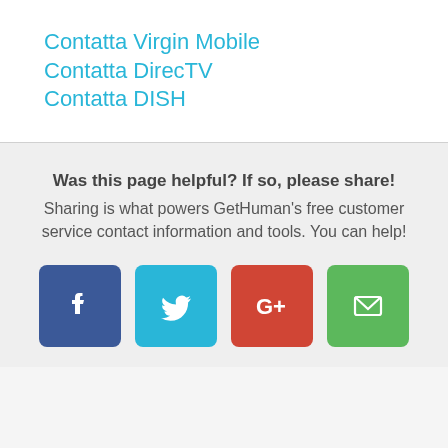Contatta Virgin Mobile
Contatta DirecTV
Contatta DISH
Was this page helpful? If so, please share!
Sharing is what powers GetHuman's free customer service contact information and tools. You can help!
[Figure (infographic): Four social sharing buttons: Facebook (dark blue), Twitter (light blue), Google+ (red), Email (green)]